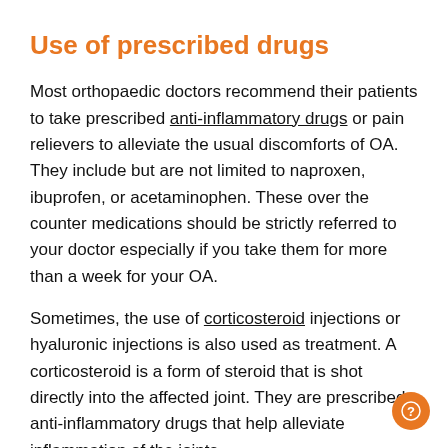Use of prescribed drugs
Most orthopaedic doctors recommend their patients to take prescribed anti-inflammatory drugs or pain relievers to alleviate the usual discomforts of OA. They include but are not limited to naproxen, ibuprofen, or acetaminophen. These over the counter medications should be strictly referred to your doctor especially if you take them for more than a week for your OA.
Sometimes, the use of corticosteroid injections or hyaluronic injections is also used as treatment. A corticosteroid is a form of steroid that is shot directly into the affected joint. They are prescribed anti-inflammatory drugs that help alleviate inflammation of the joints.